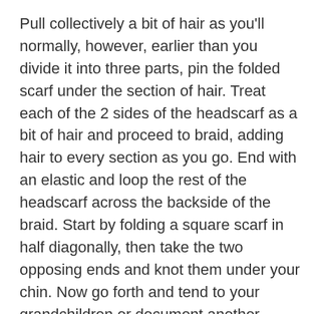Pull collectively a bit of hair as you'll normally, however, earlier than you divide it into three parts, pin the folded scarf under the section of hair. Treat each of the 2 sides of the headscarf as a bit of hair and proceed to braid, adding hair to every section as you go. End with an elastic and loop the rest of the headscarf across the backside of the braid. Start by folding a square scarf in half diagonally, then take the two opposing ends and knot them under your chin. Now go forth and tend to your grandchildren or document another album (or, you know, no matter your model of an average day seems like).
Tie your braid in place through the use of the remaining ends of your scarf. Join your front textured braid with your scarf braid to add dimension.
UK Sunday Delivery is £5.ninety five. Order by 6pm on Saturday – CURRENTLY UNAVAILABLE. UK Saturday Delivery